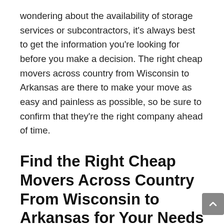wondering about the availability of storage services or subcontractors, it's always best to get the information you're looking for before you make a decision. The right cheap movers across country from Wisconsin to Arkansas are there to make your move as easy and painless as possible, so be sure to confirm that they're the right company ahead of time.
Find the Right Cheap Movers Across Country From Wisconsin to Arkansas for Your Needs
Finding Wisconsin to Arkansas cheap movers that meet your needs is a task that shouldn't be taken lightly. From convenience to reliability, every